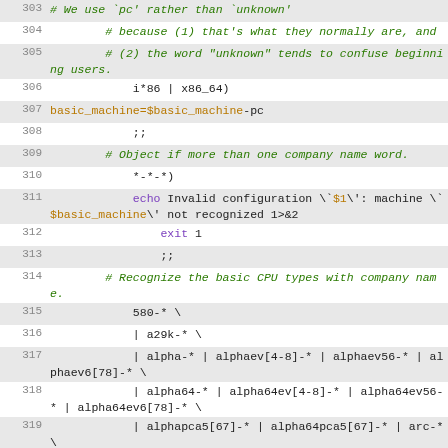Code listing lines 303-319, shell script config.guess snippet
303   # We use `pc' rather than `unknown'
304       # because (1) that's what they normally are, and
305       # (2) the word "unknown" tends to confuse beginning users.
306           i*86 | x86_64)
307   basic_machine=$basic_machine-pc
308           ;;
309       # Object if more than one company name word.
310           *-*-*)
311               echo Invalid configuration \`$1\': machine \`$basic_machine\' not recognized 1>&2
312               exit 1
313               ;;
314       # Recognize the basic CPU types with company name.
315           580-* \
316           | a29k-* \
317           | alpha-* | alphaev[4-8]-* | alphaev56-* | alphaev6[78]-* \
318           | alpha64-* | alpha64ev[4-8]-* | alpha64ev56-* | alpha64ev6[78]-* \
319           | alphapca5[67]-* | alpha64pca5[67]-* | arc-* \